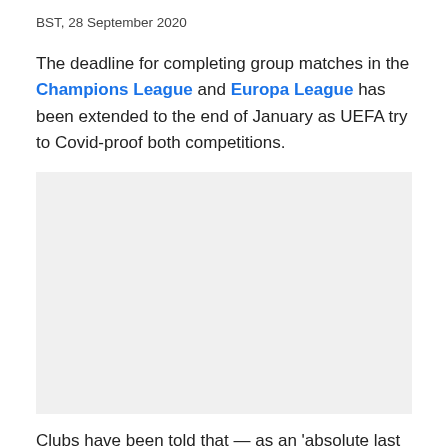BST, 28 September 2020
The deadline for completing group matches in the Champions League and Europa League has been extended to the end of January as UEFA try to Covid-proof both competitions.
[Figure (photo): Gray placeholder image area for a photo related to the article]
Clubs have been told that — as an 'absolute last resort' —